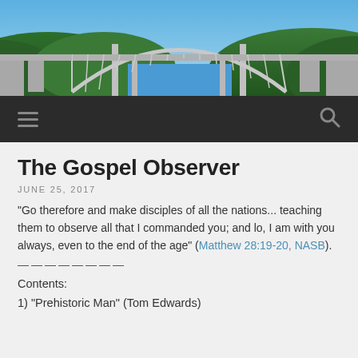[Figure (photo): Photograph of a large concrete arch bridge spanning a forested valley with blue sky background.]
Navigation bar with hamburger menu icon and search icon on dark background
The Gospel Observer
JUNE 25, 2017
“Go therefore and make disciples of all the nations... teaching them to observe all that I commanded you; and lo, I am with you always, even to the end of the age” (Matthew 28:19-20, NASB).
————————
Contents:
1) “Prehistoric Man” (Tom Edwards)